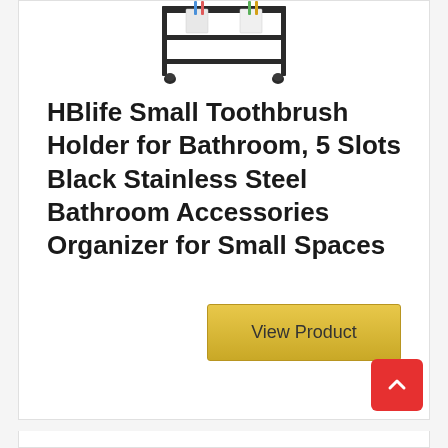[Figure (photo): Product image of a black stainless steel toothbrush holder/bathroom organizer rack, shown partially cropped at the top of the card]
HBlife Small Toothbrush Holder for Bathroom, 5 Slots Black Stainless Steel Bathroom Accessories Organizer for Small Spaces
View Product